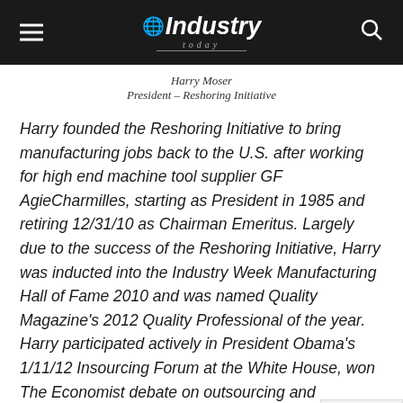Industry Today
Harry Moser
President – Reshoring Initiative
Harry founded the Reshoring Initiative to bring manufacturing jobs back to the U.S. after working for high end machine tool supplier GF AgieCharmilles, starting as President in 1985 and retiring 12/31/10 as Chairman Emeritus. Largely due to the success of the Reshoring Initiative, Harry was inducted into the Industry Week Manufacturing Hall of Fame 2010 and was named Quality Magazine's 2012 Quality Professional of the year. Harry participated actively in President Obama's 1/11/12 Insourcing Forum at the White House, won The Economist debate on outsourcing and offshoring, and received Manufacturing Leadership Council's Industry Advoca...